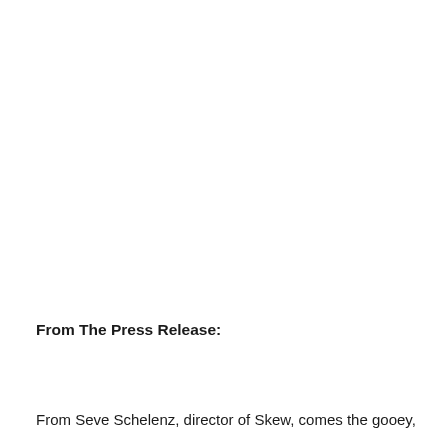From The Press Release:
From Seve Schelenz, director of Skew, comes the gooey,